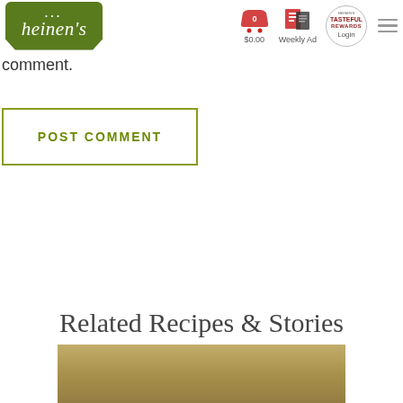heinen's | $0.00 | Weekly Ad | Login
comment.
POST COMMENT
Related Recipes & Stories
[Figure (photo): Bottom partial image strip showing food/recipe related image]